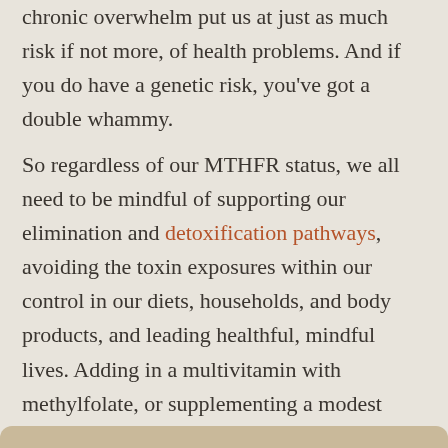chronic overwhelm put us at just as much risk if not more, of health problems. And if you do have a genetic risk, you've got a double whammy.
So regardless of our MTHFR status, we all need to be mindful of supporting our elimination and detoxification pathways, avoiding the toxin exposures within our control in our diets, households, and body products, and leading healthful, mindful lives. Adding in a multivitamin with methylfolate, or supplementing a modest amount daily, is a safe and appropriate strategy even if you're unable to get any testing and want to maximize your health protection.